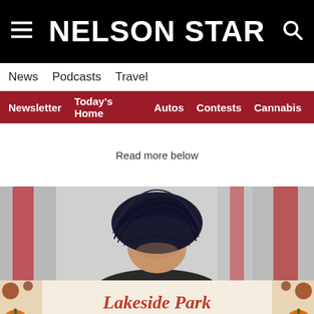NELSON STAR
News  Podcasts  Travel
Newsletter  Today's Home  Autos  Contests  Cannabis
Read more below
[Figure (photo): A person wearing a dark navy turban, photographed in front of blurred Canadian flags with red and white colors visible in the background.]
[Figure (other): Advertisement banner: Lakeside Park Harvest Market Nelson, with orange pumpkin decorations on left and right sides against a light background.]